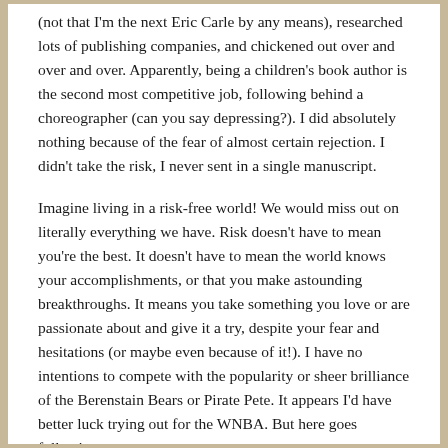(not that I'm the next Eric Carle by any means), researched lots of publishing companies, and chickened out over and over and over. Apparently, being a children's book author is the second most competitive job, following behind a choreographer (can you say depressing?). I did absolutely nothing because of the fear of almost certain rejection. I didn't take the risk, I never sent in a single manuscript.
Imagine living in a risk-free world! We would miss out on literally everything we have. Risk doesn't have to mean you're the best. It doesn't have to mean the world knows your accomplishments, or that you make astounding breakthroughs. It means you take something you love or are passionate about and give it a try, despite your fear and hesitations (or maybe even because of it!). I have no intentions to compete with the popularity or sheer brilliance of the Berenstain Bears or Pirate Pete. It appears I'd have better luck trying out for the WNBA. But here goes following